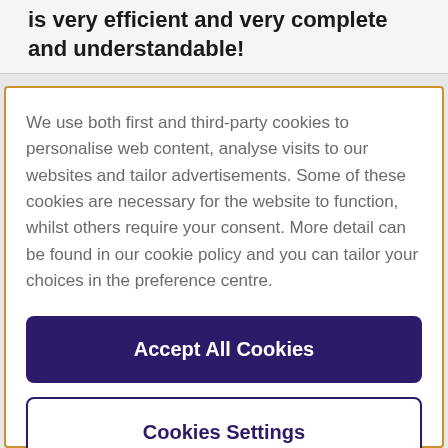is very efficient and very complete and understandable!
We use both first and third-party cookies to personalise web content, analyse visits to our websites and tailor advertisements. Some of these cookies are necessary for the website to function, whilst others require your consent. More detail can be found in our cookie policy and you can tailor your choices in the preference centre.
Accept All Cookies
Cookies Settings